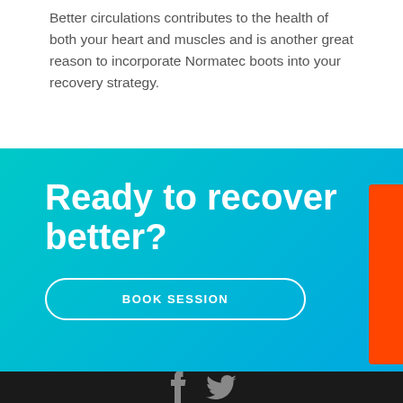Better circulations contributes to the health of both your heart and muscles and is another great reason to incorporate Normatec boots into your recovery strategy.
Ready to recover better?
BOOK SESSION
[Figure (other): Social media icons for Facebook and Twitter in dark footer bar]